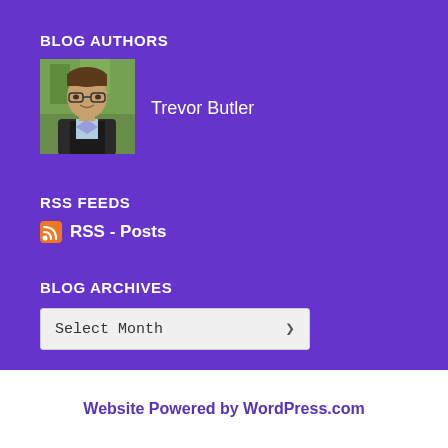BLOG AUTHORS
[Figure (photo): Headshot photo of Trevor Butler, a young man with glasses wearing a suit jacket, outdoors with blurred green background]
Trevor Butler
RSS FEEDS
RSS - Posts
BLOG ARCHIVES
Select Month
Website Powered by WordPress.com